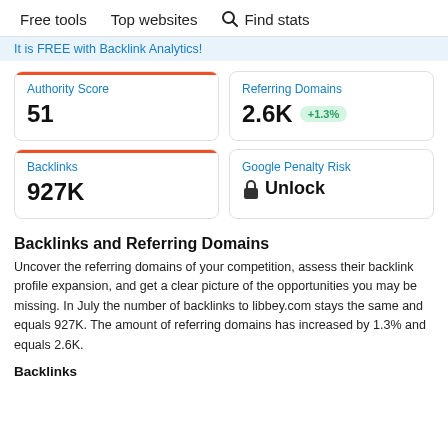Free tools   Top websites   🔍 Find stats
It is FREE with Backlink Analytics!
| Metric | Value |
| --- | --- |
| Authority Score | 51 |
| Referring Domains | 2.6K +1.3% |
| Backlinks | 927K |
| Google Penalty Risk | Unlock |
Backlinks and Referring Domains
Uncover the referring domains of your competition, assess their backlink profile expansion, and get a clear picture of the opportunities you may be missing. In July the number of backlinks to libbey.com stays the same and equals 927K. The amount of referring domains has increased by 1.3% and equals 2.6K.
Backlinks